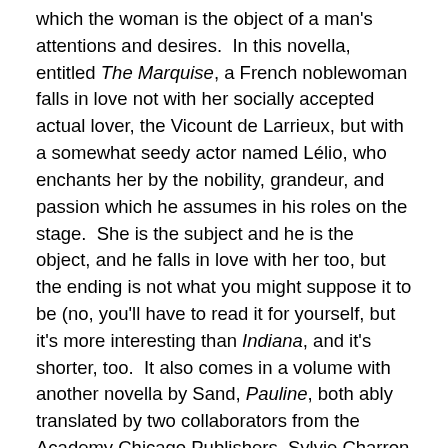which the woman is the object of a man's attentions and desires.  In this novella, entitled The Marquise, a French noblewoman falls in love not with her socially accepted actual lover, the Vicount de Larrieux, but with a somewhat seedy actor named Lélio, who enchants her by the nobility, grandeur, and passion which he assumes in his roles on the stage.  She is the subject and he is the object, and he falls in love with her too, but the ending is not what you might suppose it to be (no, you'll have to read it for yourself, but it's more interesting than Indiana, and it's shorter, too.  It also comes in a volume with another novella by Sand, Pauline, both ably translated by two collaborators from the Academy Chicago Publishers, Sylvie Charron and Sue Huseman).  As one of the two commentators remarks, “Sand deconstructs the myth of the seducer (Don Juan) by reversing roles….”